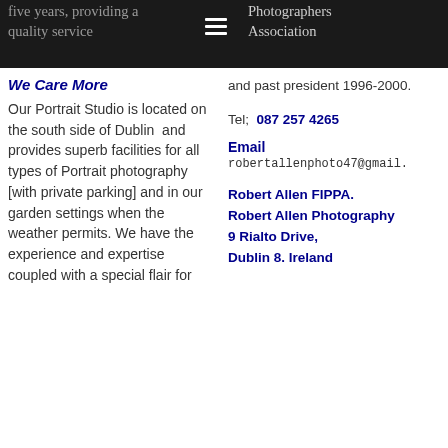five years, providing a quality service
Photographers Association
We Care More
Our Portrait Studio is located on the south side of Dublin  and provides superb facilities for all types of Portrait photography [with private parking] and in our garden settings when the weather permits. We have the experience and expertise coupled with a special flair for
and past president 1996-2000.
Tel;  087 257 4265
Email robertallenphoto47@gmail.
Robert Allen FIPPA.
Robert Allen Photography
9 Rialto Drive,
Dublin 8. Ireland